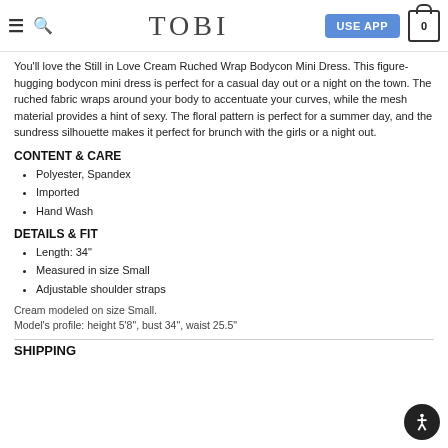TOBI — USE APP — 0
You'll love the Still in Love Cream Ruched Wrap Bodycon Mini Dress. This figure-hugging bodycon mini dress is perfect for a casual day out or a night on the town. The ruched fabric wraps around your body to accentuate your curves, while the mesh material provides a hint of sexy. The floral pattern is perfect for a summer day, and the sundress silhouette makes it perfect for brunch with the girls or a night out.
CONTENT & CARE
Polyester, Spandex
Imported
Hand Wash
DETAILS & FIT
Length: 34"
Measured in size Small
Adjustable shoulder straps
Cream modeled on size Small.
Model's profile: height 5'8", bust 34", waist 25.5"
SHIPPING